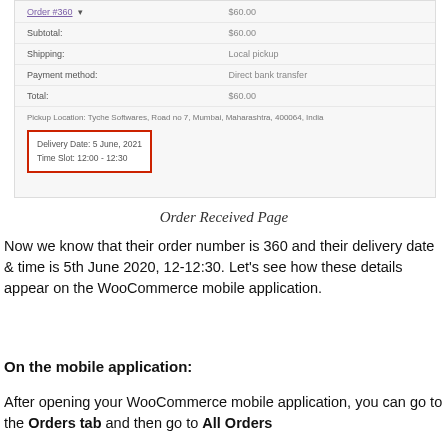[Figure (screenshot): WooCommerce order summary screenshot showing subtotal $60.00, shipping Local pickup, payment method Direct bank transfer, total $60.00, pickup location Tyche Softwares Road no 7 Mumbai Maharashtra 400064 India, and a red-bordered box showing Delivery Date: 5 June, 2021 and Time Slot: 12:00 - 12:30]
Order Received Page
Now we know that their order number is 360 and their delivery date & time is 5th June 2020, 12-12:30. Let's see how these details appear on the WooCommerce mobile application.
On the mobile application:
After opening your WooCommerce mobile application, you can go to the Orders tab and then go to All Orders